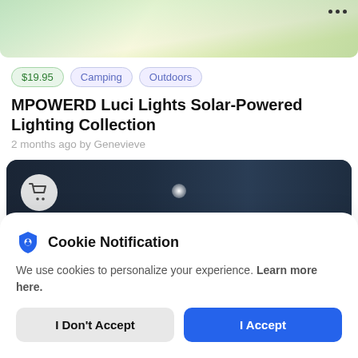[Figure (screenshot): Top portion of mobile app showing a nature/outdoor scene image with green trees and sunlight, with three-dot menu icon in top right]
$19.95   Camping   Outdoors
MPOWERD Luci Lights Solar-Powered Lighting Collection
2 months ago by Genevieve
[Figure (screenshot): Second product image: dark background showing a person holding a flashlight/light device, with a shopping cart icon circle on left]
Cookie Notification
We use cookies to personalize your experience. Learn more here.
I Don't Accept
I Accept